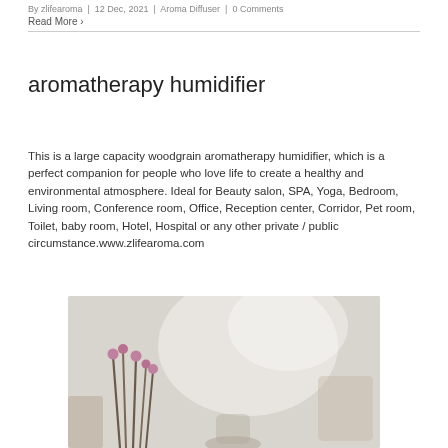By zlifearoma  |  12 Dec, 2021  |  Aroma Diffuser  |  0 Comments
Read More ›
aromatherapy humidifier
This is a large capacity woodgrain aromatherapy humidifier, which is a perfect companion for people who love life to create a healthy and environmental atmosphere. Ideal for Beauty salon, SPA, Yoga, Bedroom, Living room, Conference room, Office, Reception center, Corridor, Pet room, Toilet, baby room, Hotel, Hospital or any other private / public circumstance.www.zlifearoma.com
[Figure (photo): A blurred lifestyle photo showing decorative sticks with round ball tops in the foreground, with a soft-focus bright background suggesting a spa or wellness environment.]